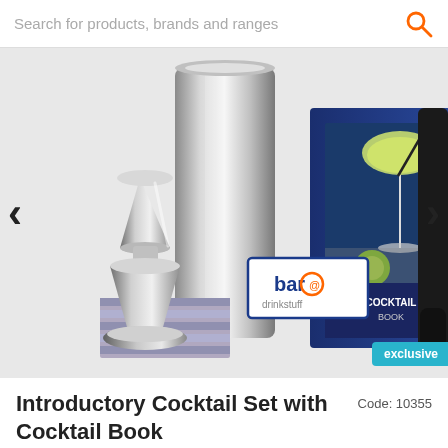Search for products, brands and ranges
[Figure (photo): Product photo of an Introductory Cocktail Set with Cocktail Book. Shows a stainless steel cocktail shaker, a jigger/muddler, a bar@drinkstuff branded label, a margarita cocktail book with lime and cocktail glass image on the cover, and a muddler. Navigation arrows on each side.]
Introductory Cocktail Set with Cocktail Book
Code: 10355